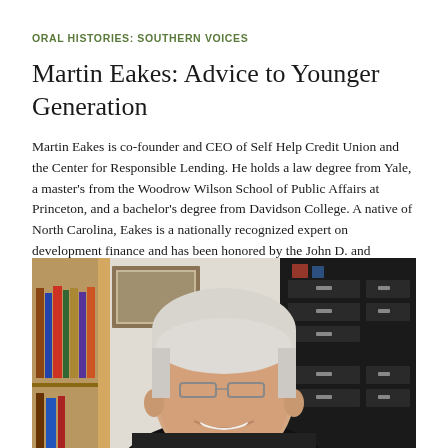ORAL HISTORIES: SOUTHERN VOICES
Martin Eakes: Advice to Younger Generation
Martin Eakes is co-founder and CEO of Self Help Credit Union and the Center for Responsible Lending. He holds a law degree from Yale, a master's from the Woodrow Wilson School of Public Affairs at Princeton, and a bachelor's degree from Davidson College. A native of North Carolina, Eakes is a nationally recognized expert on development finance and has been honored by the John D. and Catherine…
[Figure (photo): Portrait photo of Martin Eakes, a middle-aged man with white/grey hair and glasses, smiling, wearing a dark jacket, seated in an office setting with bookshelves and filing cabinets visible in the background.]